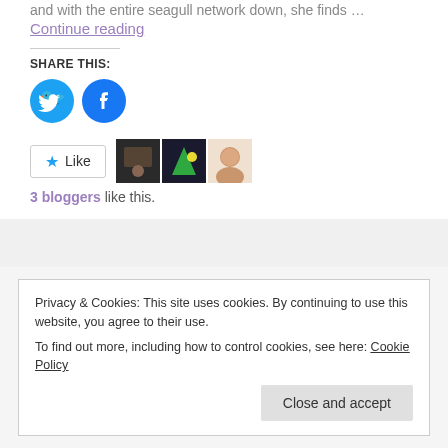and with the entire seagull network down, she finds …
Continue reading
SHARE THIS:
[Figure (illustration): Twitter bird icon in cyan circle]
[Figure (illustration): Facebook 'f' icon in blue circle]
[Figure (illustration): Like button with star icon and three blogger avatars]
3 bloggers like this.
Privacy & Cookies: This site uses cookies. By continuing to use this website, you agree to their use.
To find out more, including how to control cookies, see here: Cookie Policy
Close and accept